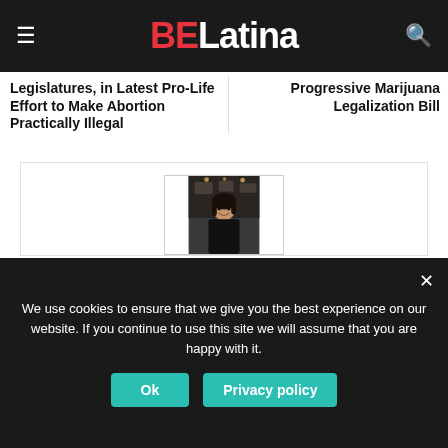BE Latina
Legislatures, in Latest Pro-Life Effort to Make Abortion Practically Illegal
Progressive Marijuana Legalization Bill
[Figure (photo): Portrait photo of Dr. Esther Liberman in a restaurant setting]
Dr. Esther Liberman
Dr. Esther Liberman teaches in Beaut© School in la...
We use cookies to ensure that we give you the best experience on our website. If you continue to use this site we will assume that you are happy with it.
Ok
Privacy policy